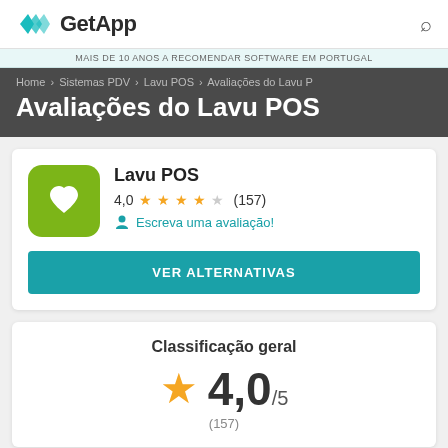GetApp
MAIS DE 10 ANOS A RECOMENDAR SOFTWARE EM PORTUGAL
Home › Sistemas PDV › Lavu POS › Avaliações do Lavu P
Avaliações do Lavu POS
Lavu POS
4,0 ★★★★☆ (157)
Escreva uma avaliação!
VER ALTERNATIVAS
Classificação geral
4,0/5
(157)